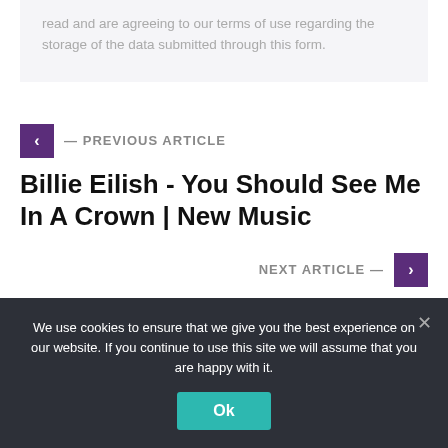read and are agreeing to our terms of use regarding the storage of the data submitted through this form.
← PREVIOUS ARTICLE
Billie Eilish - You Should See Me In A Crown | New Music
NEXT ARTICLE →
The Gucci & Dapper Dan Collection
We use cookies to ensure that we give you the best experience on our website. If you continue to use this site we will assume that you are happy with it.